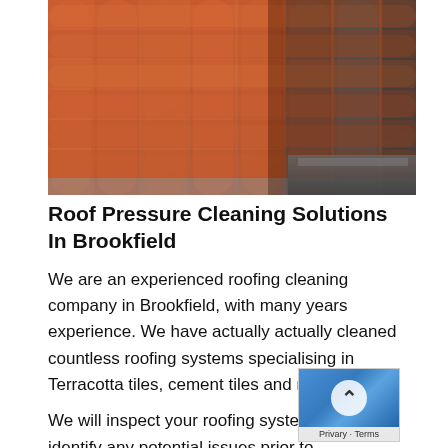[Figure (photo): Close-up photograph of terracotta roof tiles, showing clean orange-red tiles on the left and dirty/weathered tiles with debris in the gutter on the right]
Roof Pressure Cleaning Solutions In Brookfield
We are an experienced roofing cleaning company in Brookfield, with many years experience. We have actually actually cleaned countless roofing systems specialising in Terracotta tiles, cement tiles and metal roofs.
We will inspect your roofing system and identify any potential issues prior to formulating the method to clean your roofing system.
We offer our clients a total service to roofing